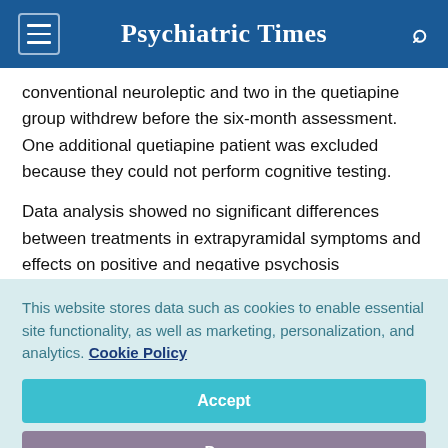Psychiatric Times
conventional neuroleptic and two in the quetiapine group withdrew before the six-month assessment. One additional quetiapine patient was excluded because they could not perform cognitive testing.
Data analysis showed no significant differences between treatments in extrapyramidal symptoms and effects on positive and negative psychosis symptoms. At the end of the study, more of the quetiapine patients had 60% of the
This website stores data such as cookies to enable essential site functionality, as well as marketing, personalization, and analytics. Cookie Policy
Accept
Deny